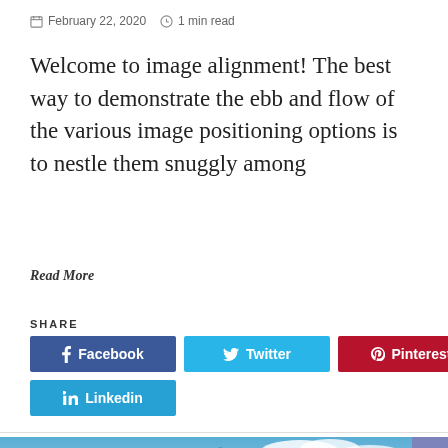February 22, 2020   1 min read
Welcome to image alignment! The best way to demonstrate the ebb and flow of the various image positioning options is to nestle them snuggly among
Read More
SHARE
[Figure (other): Social share buttons: Facebook, Twitter, Pinterest, Linkedin]
[Figure (photo): Bottom of page showing a mountain landscape with blue sky and clouds, a dark blue circle play button icon on the left, and a purple scroll-to-top button on the right]